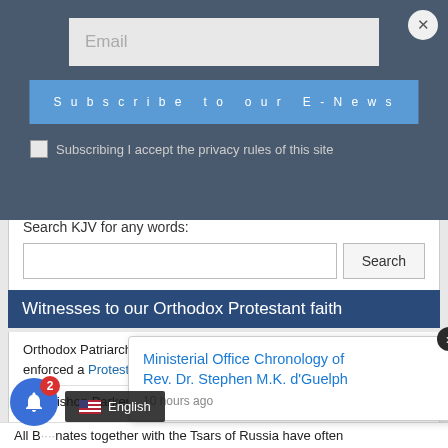Email
Subscribe to our E-News
Subscribing I accept the privacy rules of this site
according to His Will, staying in humility to His Sovereignty, it is done.
Search KJV for any words:
Witnesses to our Orthodox Protestant faith
Orthodox Patriarch Cyril Lucarius of Constantinople (1572-1638) enforced a Protestant Creed fully in support of Calvinism.
Archbishop Parker of Canterbury promised Calvin that England would "retain her Episcop... Augustine the mo... d Acts of Am..."
[Figure (screenshot): Popup notification: Ministerial Office Chronology of Rev. Dr. Stephen M.K. d'Guelph, 10 hours ago]
All B... nates together with the Tsars of Russia have often